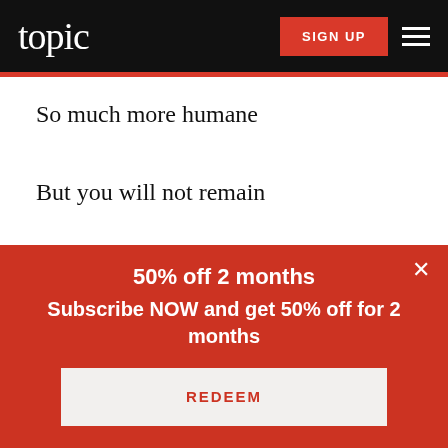topic | SIGN UP
So much more humane
But you will not remain
After the play is over
The end of love
50% off 2 months
Subscribe NOW and get 50% off for 2 months
REDEEM